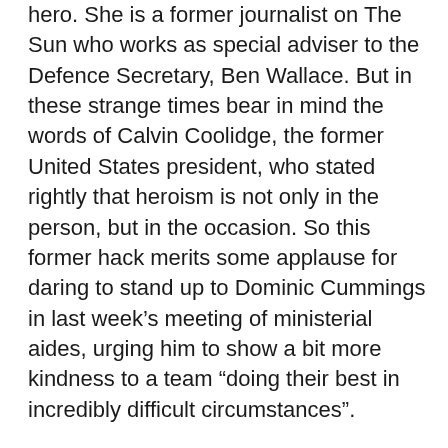hero. She is a former journalist on The Sun who works as special adviser to the Defence Secretary, Ben Wallace. But in these strange times bear in mind the words of Calvin Coolidge, the former United States president, who stated rightly that heroism is not only in the person, but in the occasion. So this former hack merits some applause for daring to stand up to Dominic Cummings in last week’s meeting of ministerial aides, urging him to show a bit more kindness to a team “doing their best in incredibly difficult circumstances”.
Her intervention demonstrated how much bullies dislike being confronted. Cummings, the arrogant despot of Downing Street, was reported to have offered “a partial apology” for his sneering remark at the previous gathering that “I’ll see some of you next week”. This was